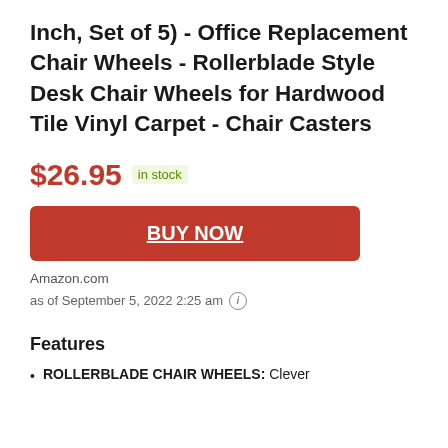Inch, Set of 5) - Office Replacement Chair Wheels - Rollerblade Style Desk Chair Wheels for Hardwood Tile Vinyl Carpet - Chair Casters
$26.95  in stock
BUY NOW
Amazon.com
as of September 5, 2022 2:25 am
Features
ROLLERBLADE CHAIR WHEELS: Clever